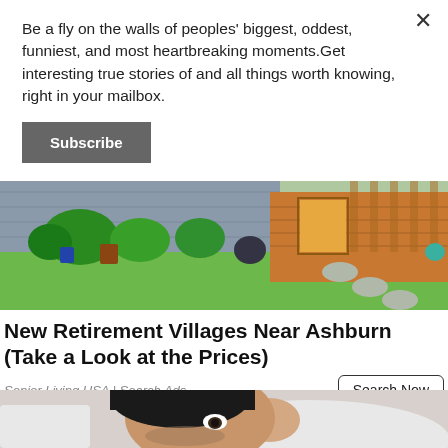Be a fly on the walls of peoples' biggest, oddest, funniest, and most heartbreaking moments.Get interesting true stories of and all things worth knowing, right in your mailbox.
[Figure (screenshot): Subscribe button rendered as dark grey rectangle with white bold text 'Subscribe']
[Figure (photo): Photo of a house exterior with green lawn, garden plants, wooden deck/porch, stepping stone path]
New Retirement Villages Near Ashburn (Take a Look at the Prices)
Senior Living USA | Search Ads
[Figure (photo): Photo of a man lying down in a white t-shirt, looking sideways at the camera, with dark stubble hair]